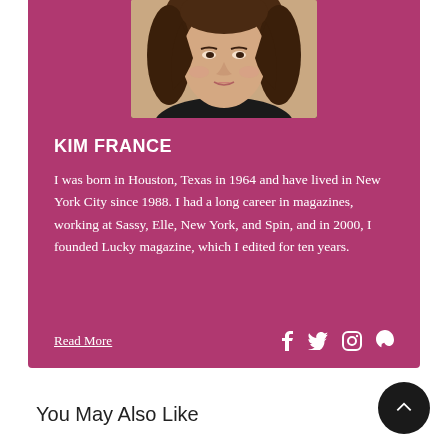[Figure (photo): Headshot photo of Kim France, a woman with brown hair, against a neutral background, wearing dark clothing]
KIM FRANCE
I was born in Houston, Texas in 1964 and have lived in New York City since 1988. I had a long career in magazines, working at Sassy, Elle, New York, and Spin, and in 2000, I founded Lucky magazine, which I edited for ten years.
Read More
You May Also Like